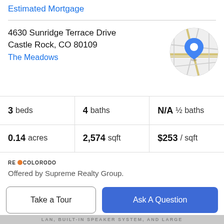Estimated Mortgage
4630 Sunridge Terrace Drive
Castle Rock, CO 80109
The Meadows
[Figure (map): Circular map thumbnail showing location pin in Castle Rock area with street map background]
3 beds | 4 baths | N/A ½ baths
0.14 acres | 2,574 sqft | $253 / sqft
[Figure (logo): RE/Colorado logo with orange sun icon]
Offered by Supreme Realty Group.
Property Description
Welcome home to this 2-story beauty in The Meadows, a highly sought-after Community in Castle Rock * This home
Take a Tour
Ask A Question
LAN, BUILT-IN SPEAKER SYSTEM, AND LARGE